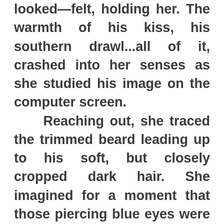looked—felt, holding her. The warmth of his kiss, his southern drawl...all of it, crashed into her senses as she studied his image on the computer screen.
	Reaching out, she traced the trimmed beard leading up to his soft, but closely cropped dark hair. She imagined for a moment that those piercing blue eyes were gazing at her, that the smile he offered the camera was for her. Oh, God, and